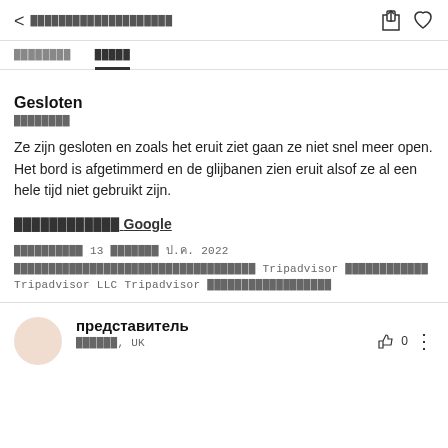< ████████████████████
████████  █████
Gesloten
████████
Ze zijn gesloten en zoals het eruit ziet gaan ze niet snel meer open. Het bord is afgetimmerd en de glijbanen zien eruit alsof ze al een hele tijd niet gebruikt zijn.
████████████ Google
██████████ 13 ███████ ป.ค. 2022
███████████████████████████████████ Tripadvisor ████████████ Tripadvisor LLC Tripadvisor ██████████████████
представитель
██████, UK